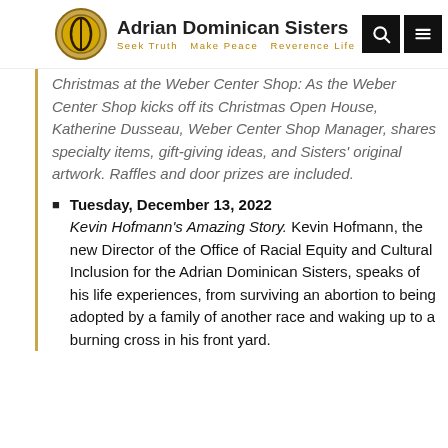Adrian Dominican Sisters — Seek Truth Make Peace Reverence Life
Christmas at the Weber Center Shop: As the Weber Center Shop kicks off its Christmas Open House, Katherine Dusseau, Weber Center Shop Manager, shares specialty items, gift-giving ideas, and Sisters' original artwork. Raffles and door prizes are included.
Tuesday, December 13, 2022
Kevin Hofmann's Amazing Story. Kevin Hofmann, the new Director of the Office of Racial Equity and Cultural Inclusion for the Adrian Dominican Sisters, speaks of his life experiences, from surviving an abortion to being adopted by a family of another race and waking up to a burning cross in his front yard.